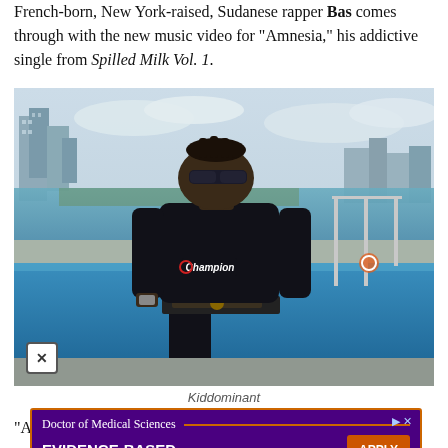French-born, New York-raised, Sudanese rapper Bas comes through with the new music video for “Amnesia,” his addictive single from Spilled Milk Vol. 1.
[Figure (photo): Photo of rapper Bas standing by a pool wearing a black Champion sweatshirt and sunglasses, with a waterfront city skyline in the background.]
Kiddominant
“A… mville an… a head-no… d sounds
[Figure (other): Advertisement for High Point University Doctor of Medical Sciences program: 'Doctor of Medical Sciences — Evidence-Based and Focused — Apply Now — High Point University']